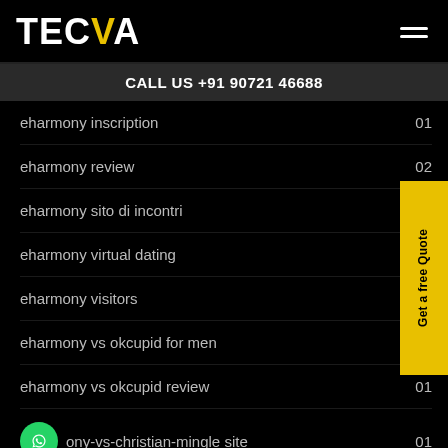TECVA
CALL US +91 90721 46688
eharmony inscription
eharmony review
eharmony sito di incontri
eharmony virtual dating
eharmony visitors
eharmony vs okcupid for men
eharmony vs okcupid review
eharmony-vs-christian-mingle site
eharmony-vs-christian-mingle visitors